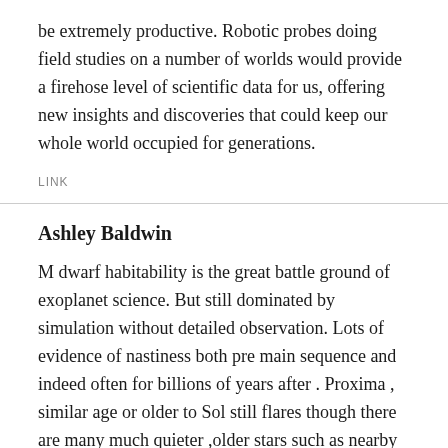be extremely productive. Robotic probes doing field studies on a number of worlds would provide a firehose level of scientific data for us, offering new insights and discoveries that could keep our whole world occupied for generations.
LINK
Ashley Baldwin
M dwarf habitability is the great battle ground of exoplanet science. But still dominated by simulation without detailed observation. Lots of evidence of nastiness both pre main sequence and indeed often for billions of years after . Proxima , similar age or older to Sol still flares though there are many much quieter ,older stars such as nearby Wolf 1061 with a terrestrial mass planet in its Hab zone .